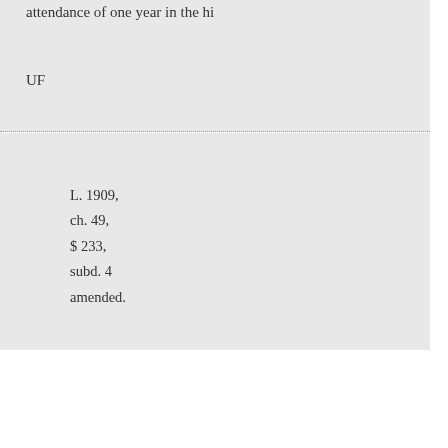attendance of one year in the hi
UF
L. 1909,
ch. 49,
$ 233,
subd. 4
amended.
Qualifications of
AN ACT to amend the public [school law relative to] pharmacy. Became a law April 2[...] three-fifths being present. The Pe[ople of the State of New York] enact as follows:
Section 1. Subdivision four of pa[ge...] chapter fortynine of the laws of n[...] constituting chapter forty-five of [the...]